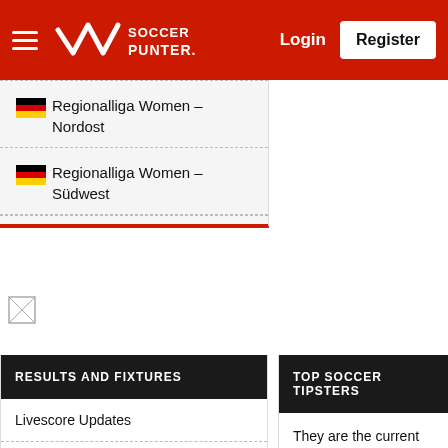Soccer Punter — Login | Register
Regionalliga Women - Nordost
Regionalliga Women - Südwest
[Figure (other): Broken/missing image placeholder]
RESULTS AND FIXTURES
Livescore Updates
Today Match Fixtures
TOP SOCCER TIPSTERS
They are the current leading soccer tipsters in this month competition.